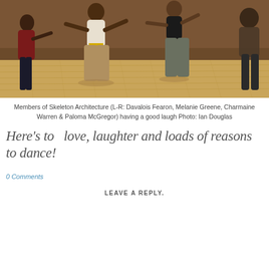[Figure (photo): Four women dancing/moving in a dance studio with wooden parquet floor. They are members of Skeleton Architecture: Davalois Fearon, Melanie Greene, Charmaine Warren, and Paloma McGregor.]
Members of Skeleton Architecture (L-R: Davalois Fearon, Melanie Greene, Charmaine Warren & Paloma McGregor) having a good laugh Photo: Ian Douglas
Here's to  love, laughter and loads of reasons to dance!
0 Comments
LEAVE A REPLY.